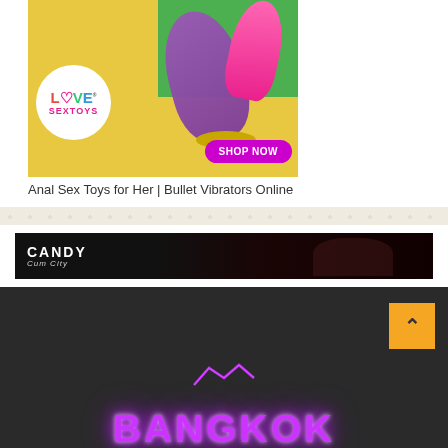[Figure (illustration): Love Sextoys advertisement banner with colorful adult toy products on yellow/green background with a white circular logo and a purple 'SHOP NOW' button]
Anal Sex Toys for Her | Bullet Vibrators Online
[Figure (illustration): Candy Cum City banner advertisement with dark background and figures]
[Figure (illustration): Bangkok logo in glowing purple neon text on dark background with a scroll-to-top button in orange]